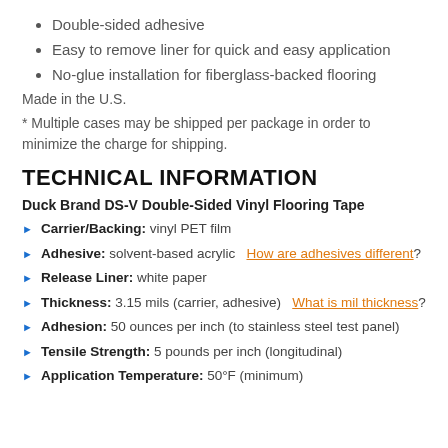Double-sided adhesive
Easy to remove liner for quick and easy application
No-glue installation for fiberglass-backed flooring
Made in the U.S.
* Multiple cases may be shipped per package in order to minimize the charge for shipping.
TECHNICAL INFORMATION
Duck Brand DS-V Double-Sided Vinyl Flooring Tape
Carrier/Backing: vinyl PET film
Adhesive: solvent-based acrylic  How are adhesives different?
Release Liner: white paper
Thickness: 3.15 mils (carrier, adhesive)  What is mil thickness?
Adhesion: 50 ounces per inch (to stainless steel test panel)
Tensile Strength: 5 pounds per inch (longitudinal)
Application Temperature: 50°F (minimum)